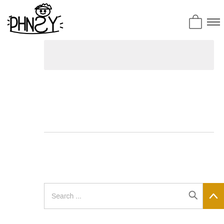[Figure (logo): Graffiti-style logo reading PHNSY or similar stylized tag with crown above letters]
[Figure (illustration): Shopping bag icon outline]
[Figure (illustration): Hamburger menu icon (three horizontal lines)]
[Figure (other): Light gray placeholder content block]
[Figure (other): Thin horizontal divider line]
[Figure (screenshot): Search bar with placeholder text 'Search ...' and magnifying glass icon]
[Figure (other): Gold/amber back-to-top button with upward chevron arrow]